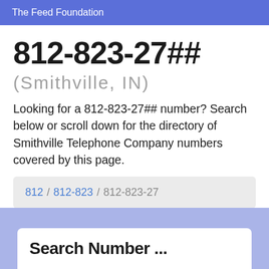The Feed Foundation
812-823-27##
(Smithville, IN)
Looking for a 812-823-27## number? Search below or scroll down for the directory of Smithville Telephone Company numbers covered by this page.
812 / 812-823 / 812-823-27